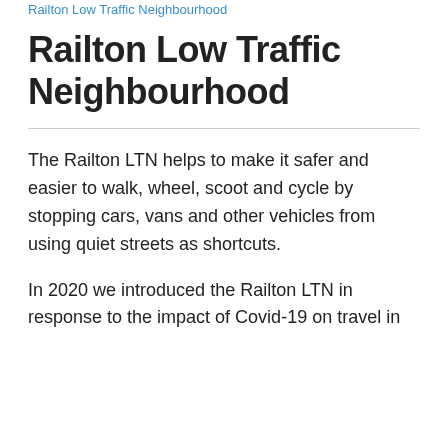Railton Low Traffic Neighbourhood
Railton Low Traffic Neighbourhood
The Railton LTN helps to make it safer and easier to walk, wheel, scoot and cycle by stopping cars, vans and other vehicles from using quiet streets as shortcuts.
In 2020 we introduced the Railton LTN in response to the impact of Covid-19 on travel in